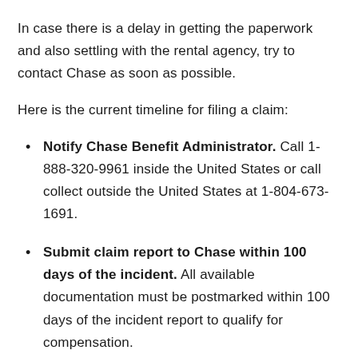In case there is a delay in getting the paperwork and also settling with the rental agency, try to contact Chase as soon as possible.
Here is the current timeline for filing a claim:
Notify Chase Benefit Administrator. Call 1-888-320-9961 inside the United States or call collect outside the United States at 1-804-673-1691.
Submit claim report to Chase within 100 days of the incident. All available documentation must be postmarked within 100 days of the incident report to qualify for compensation.